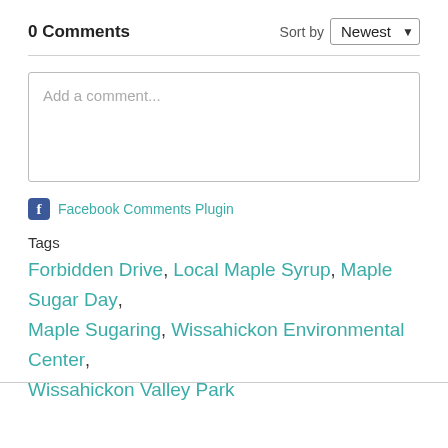0 Comments
Sort by Newest
[Figure (screenshot): Comment input textarea with placeholder text 'Add a comment...']
Facebook Comments Plugin
Tags
Forbidden Drive, Local Maple Syrup, Maple Sugar Day, Maple Sugaring, Wissahickon Environmental Center, Wissahickon Valley Park